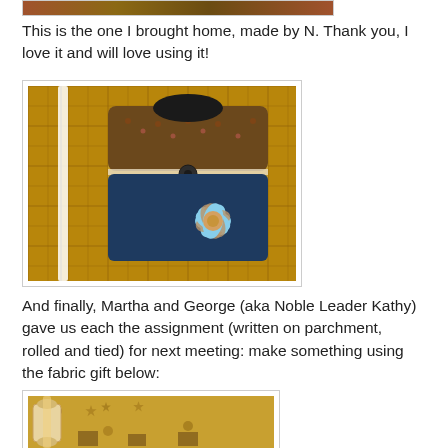[Figure (photo): Top portion of a photo showing a quilt or fabric with brown/rust tones (cropped at top of page)]
This is the one I brought home, made by N. Thank you, I love it and will love using it!
[Figure (photo): A handmade quilted bag/pouch with a blue and tan flower patch design, decorative buttons, white ribbon, displayed on a brown patterned quilt background]
And finally, Martha and George (aka Noble Leader Kathy) gave us each the assignment (written on parchment, rolled and tied) for next meeting: make something using the fabric gift below:
[Figure (photo): A rolled parchment/scroll with fabric featuring stars and dark patterns on a tan/gold background (partially visible, cropped at bottom)]